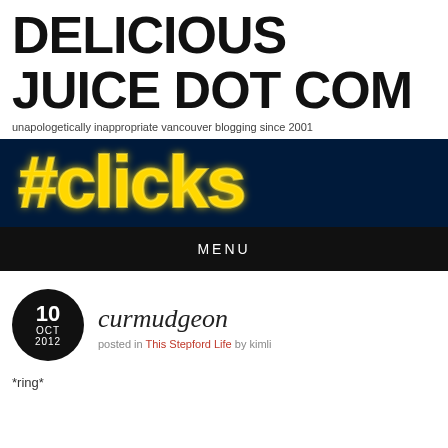DELICIOUS JUICE DOT COM
unapologetically inappropriate vancouver blogging since 2001
[Figure (photo): Neon sign with illuminated yellow letters reading #clicks against a dark blue background]
MENU
curmudgeon
posted in This Stepford Life by kimli
*ring*